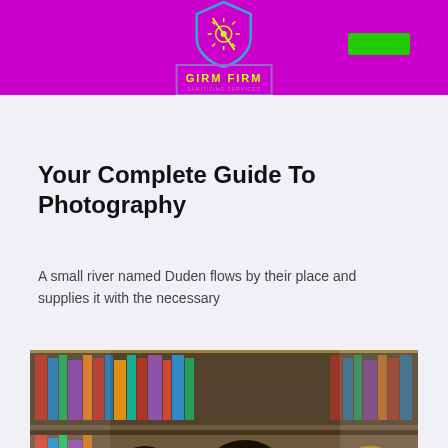[Figure (logo): Girm Firm logo with shield icon on purple header background, and a green button on the right]
Your Complete Guide To Photography
A small river named Duden flows by their place and supplies it with the necessary
[Figure (photo): Photo of students studying in a library, woman with glasses in focus]